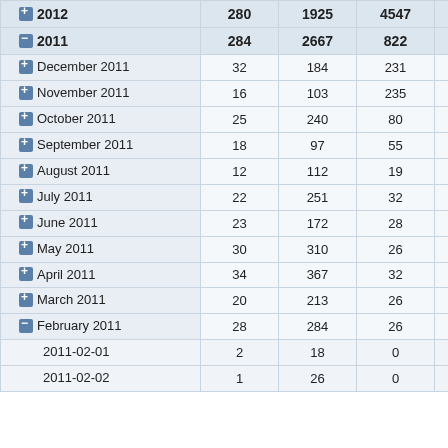| Period | Col1 | Col2 | Col3 | Col4 |
| --- | --- | --- | --- | --- |
| 2012 | 280 | 1925 | 4547 | 56 |
| 2011 | 284 | 2667 | 822 | 191 |
| December 2011 | 32 | 184 | 231 | 33 |
| November 2011 | 16 | 103 | 235 | 36 |
| October 2011 | 25 | 240 | 80 | 34 |
| September 2011 | 18 | 97 | 55 | 26 |
| August 2011 | 12 | 112 | 19 | 21 |
| July 2011 | 22 | 251 | 32 | 30 |
| June 2011 | 23 | 172 | 28 | 24 |
| May 2011 | 30 | 310 | 26 | 15 |
| April 2011 | 34 | 367 | 32 | 17 |
| March 2011 | 20 | 213 | 26 | 15 |
| February 2011 | 28 | 284 | 26 | 19 |
| 2011-02-01 | 2 | 18 | 0 | 16 |
| 2011-02-02 | 1 | 26 | 0 | 12 |